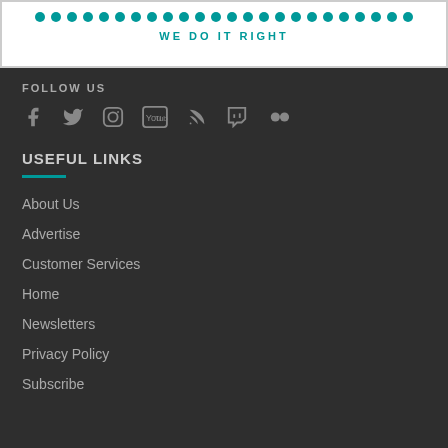[Figure (logo): White banner with teal dots row and tagline 'WE DO IT RIGHT']
FOLLOW US
[Figure (infographic): Social media icons: Facebook, Twitter, Instagram, YouTube, RSS, Twitch, Google+]
USEFUL LINKS
About Us
Advertise
Customer Services
Home
Newsletters
Privacy Policy
Subscribe